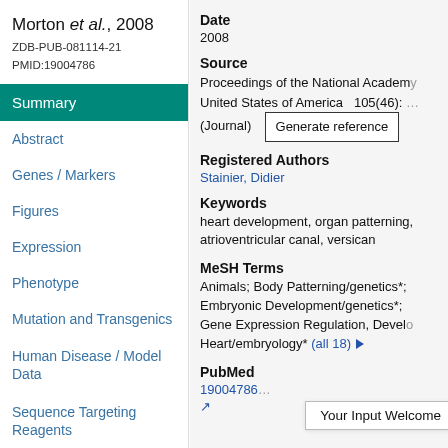Morton et al., 2008
ZDB-PUB-081114-21
PMID:19004786
Summary
Abstract
Genes / Markers
Figures
Expression
Phenotype
Mutation and Transgenics
Human Disease / Model Data
Sequence Targeting Reagents
Date
2008
Source
Proceedings of the National Academy of United States of America   105(46): (Journal)
Registered Authors
Stainier, Didier
Keywords
heart development, organ patterning, atrioventricular canal, versican
MeSH Terms
Animals; Body Patterning/genetics*; Embryonic Development/genetics*; Gene Expression Regulation, Developmental; Heart/embryology* (all 18) ▶
PubMed
19004786
Your Input Welcome